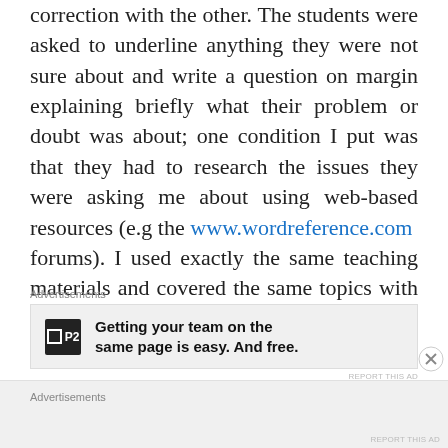correction with the other. The students were asked to underline anything they were not sure about and write a question on margin explaining briefly what their problem or doubt was about; one condition I put was that they had to research the issues they were asking me about using web-based resources (e.g the www.wordreference.com forums). I used exactly the same teaching materials and covered the same topics with both groups.
Advertisements
[Figure (other): Advertisement banner for P2 service: 'Getting your team on the same page is easy. And free.']
Advertisements